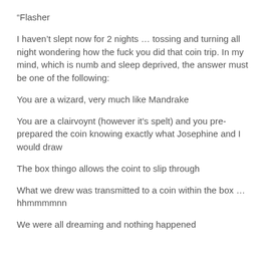“Flasher
I haven’t slept now for 2 nights … tossing and turning all night wondering how the fuck you did that coin trip. In my mind, which is numb and sleep deprived, the answer must be one of the following:
You are a wizard, very much like Mandrake
You are a clairvoynt (however it’s spelt) and you pre-prepared the coin knowing exactly what Josephine and I would draw
The box thingo allows the coint to slip through
What we drew was transmitted to a coin within the box … hhmmmmnn
We were all dreaming and nothing happened